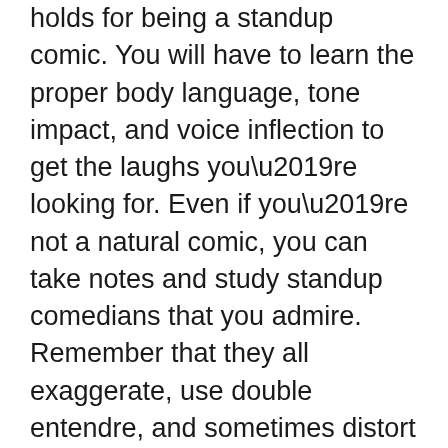holds for being a standup comic. You will have to learn the proper body language, tone impact, and voice inflection to get the laughs you're looking for. Even if you're not a natural comic, you can take notes and study standup comedians that you admire. Remember that they all exaggerate, use double entendre, and sometimes distort their faces. But most of all, you must know how to keep your audience waiting for the punchline.
Practice makes perfect when it comes to being a standup comedian. Having practiced on stage will give you more confidence in front of an audience. During practice sessions, try out new jokes, try different delivery styles, and test additional material.